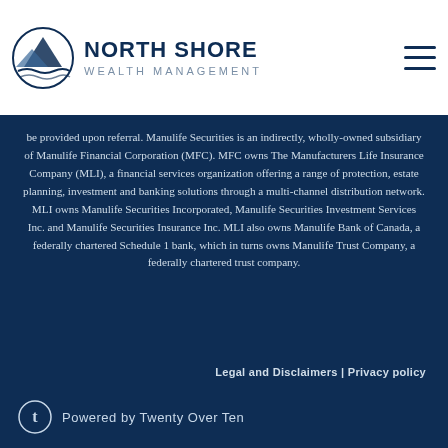[Figure (logo): North Shore Wealth Management logo with mountain/water icon and nav hamburger menu]
Stocks, bonds and mutual funds are offered through Manulife Securities Incorporated. Mutual funds are offered through Manulife Securities Incorporated. Insurance products and services are offered through North Shore Wealth Management. Banking products and services are offered by referral arrangements through our related company, Manulife Bank of Canada, additional disclosure information will be provided upon referral. Manulife Securities is an indirectly, wholly-owned subsidiary of Manulife Financial Corporation (MFC). MFC owns The Manufacturers Life Insurance Company (MLI), a financial services organization offering a range of protection, estate planning, investment and banking solutions through a multi-channel distribution network. MLI owns Manulife Securities Incorporated, Manulife Securities Investment Services Inc. and Manulife Securities Insurance Inc. MLI also owns Manulife Bank of Canada, a federally chartered Schedule 1 bank, which in turns owns Manulife Trust Company, a federally chartered trust company.
Legal and Disclaimers | Privacy policy
Powered by Twenty Over Ten